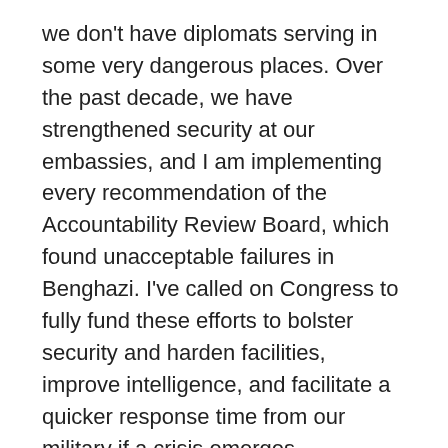we don't have diplomats serving in some very dangerous places.  Over the past decade, we have strengthened security at our embassies, and I am implementing every recommendation of the Accountability Review Board, which found unacceptable failures in Benghazi.  I've called on Congress to fully fund these efforts to bolster security and harden facilities, improve intelligence, and facilitate a quicker response time from our military if a crisis emerges.
But even after we take these steps, some irreducible risks to our diplomats will remain.  This is the price of being the world's most powerful nation, particularly as a wave of change washes over the Arab World.  And in balancing